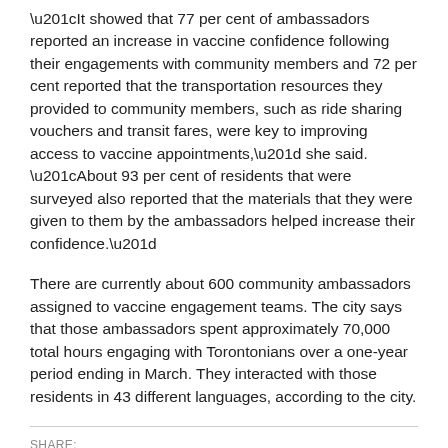“It showed that 77 per cent of ambassadors reported an increase in vaccine confidence following their engagements with community members and 72 per cent reported that the transportation resources they provided to community members, such as ride sharing vouchers and transit fares, were key to improving access to vaccine appointments,” she said. “About 93 per cent of residents that were surveyed also reported that the materials that they were given to them by the ambassadors helped increase their confidence.”
There are currently about 600 community ambassadors assigned to vaccine engagement teams. The city says that those ambassadors spent approximately 70,000 total hours engaging with Torontonians over a one-year period ending in March. They interacted with those residents in 43 different languages, according to the city.
SHARE: